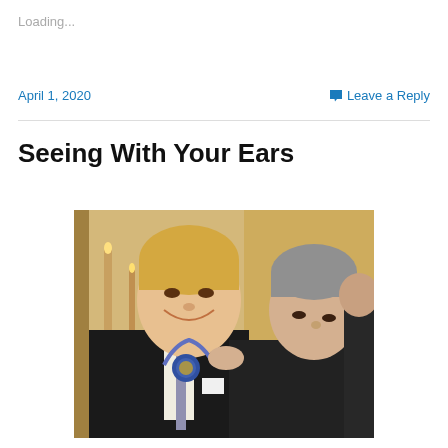Loading...
April 1, 2020
Leave a Reply
Seeing With Your Ears
[Figure (photo): A smiling older man receiving a medal hung around his neck by another man in a formal indoor setting with candles and gold decor in the background.]